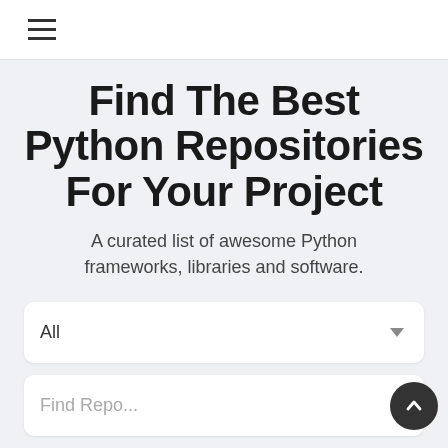≡
Find The Best Python Repositories For Your Project
A curated list of awesome Python frameworks, libraries and software.
All
Find Repo...